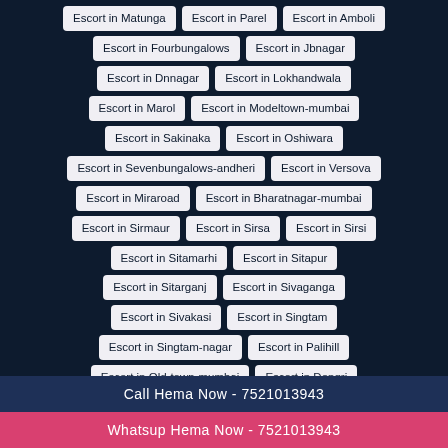Escort in Matunga
Escort in Parel
Escort in Amboli
Escort in Fourbungalows
Escort in Jbnagar
Escort in Dnnagar
Escort in Lokhandwala
Escort in Marol
Escort in Modeltown-mumbai
Escort in Sakinaka
Escort in Oshiwara
Escort in Sevenbungalows-andheri
Escort in Versova
Escort in Miraroad
Escort in Bharatnagar-mumbai
Escort in Sirmaur
Escort in Sirsa
Escort in Sirsi
Escort in Sitamarhi
Escort in Sitapur
Escort in Sitarganj
Escort in Sivaganga
Escort in Sivakasi
Escort in Singtam
Escort in Singtam-nagar
Escort in Palihill
Escort in Old-town-mumbai
Escort in Dongri
Call Hema Now - 7521013943
Whatsup Hema Now - 7521013943